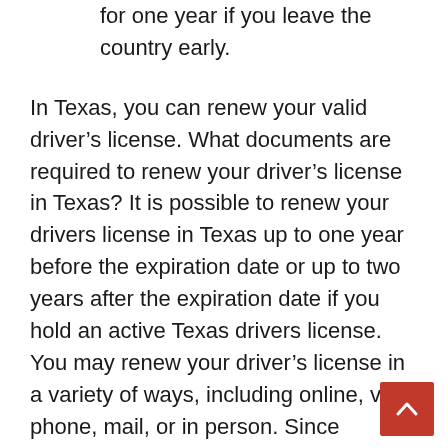for one year if you leave the country early.
In Texas, you can renew your valid driver's license. What documents are required to renew your driver's license in Texas? It is possible to renew your drivers license in Texas up to one year before the expiration date or up to two years after the expiration date if you hold an active Texas drivers license. You may renew your driver's license in a variety of ways, including online, via phone, mail, or in person. Since October 2008, if you have not updated your driver's license and have not confirmed your citizenship with the Department of Public Safety (DPS), you will be required to do so before renewing your license.